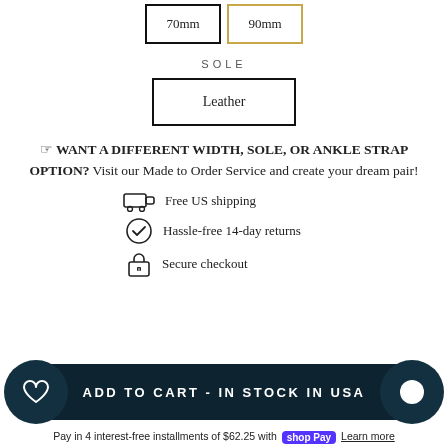70mm / 90mm size buttons
SOLE
Leather
☞ WANT A DIFFERENT WIDTH, SOLE, OR ANKLE STRAP OPTION? Visit our Made to Order Service and create your dream pair!
Free US shipping
Hassle-free 14-day returns
Secure checkout
ADD TO CART - IN STOCK IN USA
Pay in 4 interest-free installments of $62.25 with shop Pay Learn more